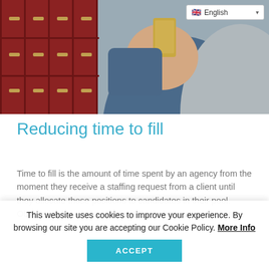[Figure (photo): A person holding a smartphone near red lockers, wearing a blue hoodie and grey jacket]
Reducing time to fill
Time to fill is the amount of time spent by an agency from the moment they receive a staffing request from a client until they allocate those positions to candidates in their pool. Obviously, the shorter this time the better, as time spent on the phone by consultants could be
This website uses cookies to improve your experience. By browsing our site you are accepting our Cookie Policy. More Info
ACCEPT